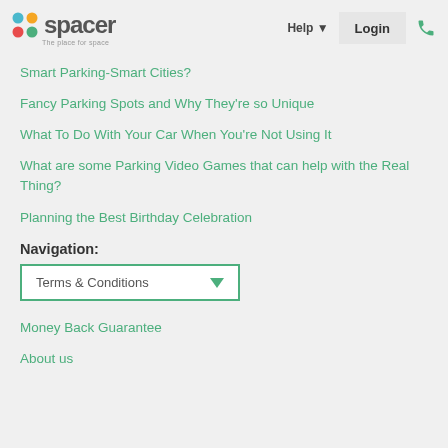spacer - The place for space | Help | Login
Smart Parking-Smart Cities?
Fancy Parking Spots and Why They're so Unique
What To Do With Your Car When You're Not Using It
What are some Parking Video Games that can help with the Real Thing?
Planning the Best Birthday Celebration
Navigation:
Terms & Conditions
Money Back Guarantee
About us